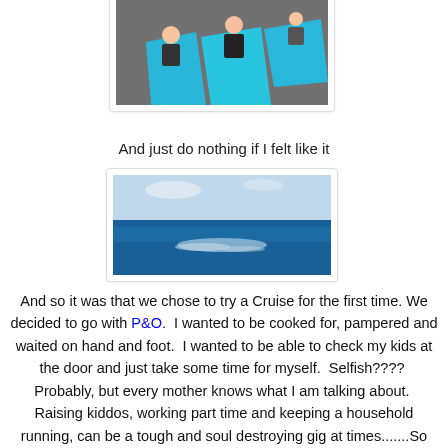[Figure (photo): Children doing yoga poses on blue mats in a gym or studio setting]
And just do nothing if I felt like it
[Figure (photo): Open ocean view with blue water and sky from a cruise ship deck]
And so it was that we chose to try a Cruise for the first time. We decided to go with P&O. I wanted to be cooked for, pampered and waited on hand and foot. I wanted to be able to check my kids at the door and just take some time for myself. Selfish???? Probably, but every mother knows what I am talking about. Raising kiddos, working part time and keeping a household running, can be a tough and soul destroying gig at times.......So these days it is not a real